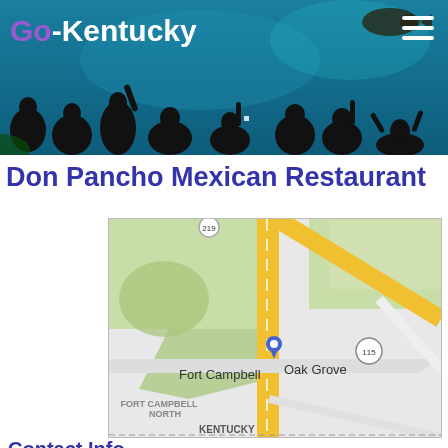Go - Kentucky
Don Pancho Mexican Restaurant
[Figure (map): Google map showing Oak Grove and Fort Campbell area in Kentucky, with a blue location pin marker near Oak Grove, route 115 visible, and labels for Fort Campbell North and Kentucky.]
Contact Info